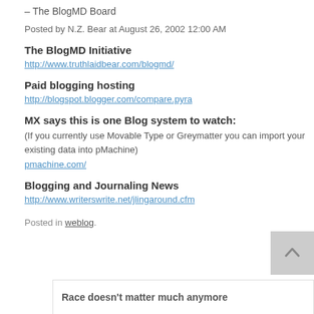– The BlogMD Board
Posted by N.Z. Bear at August 26, 2002 12:00 AM
The BlogMD Initiative
http://www.truthlaidbear.com/blogmd/
Paid blogging hosting
http://blogspot.blogger.com/compare.pyra
MX says this is one Blog system to watch:
(If you currently use Movable Type or Greymatter you can import your existing data into pMachine)
pmachine.com/
Blogging and Journaling News
http://www.writerswrite.net/jlingaround.cfm
Posted in weblog.
Race doesn't matter much anymore